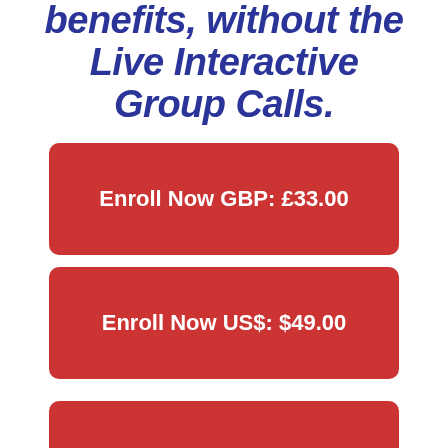benefits, without the Live Interactive Group Calls.
Enroll Now GBP: £33.00
Enroll Now US$: $49.00
Register for Bootcamp